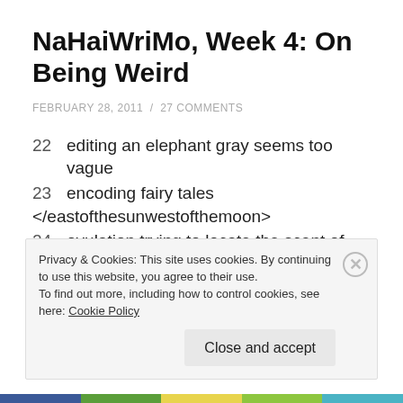NaHaiWriMo, Week 4: On Being Weird
FEBRUARY 28, 2011 / 27 COMMENTS
22   editing an elephant gray seems too vague
23   encoding fairy tales
</eastofthesunwestofthemoon>
24   ovulation trying to locate the scent of apple
25   menstruation sinking lower in the waves
26   political protest a deathwatch beetle in the drum circle
Privacy & Cookies: This site uses cookies. By continuing to use this website, you agree to their use.
To find out more, including how to control cookies, see here: Cookie Policy
Close and accept